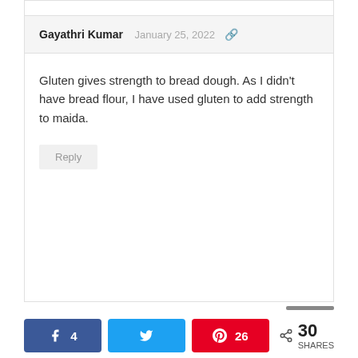Gayathri Kumar  January 25, 2022
Gluten gives strength to bread dough. As I didn't have bread flour, I have used gluten to add strength to maida.
[Figure (screenshot): Social share bar with Facebook (4 shares), Twitter, Pinterest (26 shares), and total 30 shares buttons]